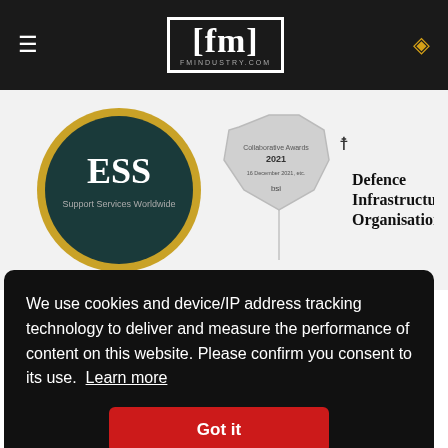fm — fmindustry.com
[Figure (logo): ESS Support Services Worldwide circular logo (dark teal with gold ring), BSI Collaborative Awards 2021 octagonal silver award logo (16 December 2021), Defence Infrastructure Organisation text logo with crest]
...k's n tor
We use cookies and device/IP address tracking technology to deliver and measure the performance of content on this website. Please confirm you consent to its use. Learn more
Got it
ween Soft
ESS and in the delivery of the large defence Soft FM contracts.